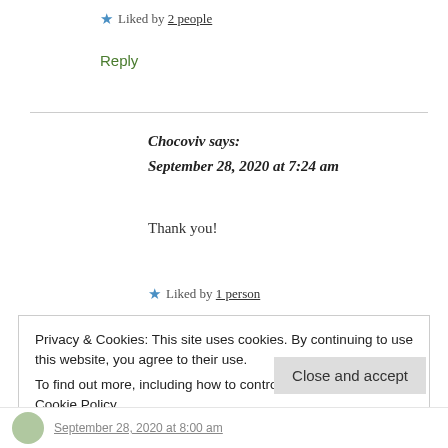★ Liked by 2 people
Reply
Chocoviv says: September 28, 2020 at 7:24 am
Thank you!
★ Liked by 1 person
Privacy & Cookies: This site uses cookies. By continuing to use this website, you agree to their use.
To find out more, including how to control cookies, see here: Cookie Policy
Close and accept
September 28, 2020 at 8:00 am